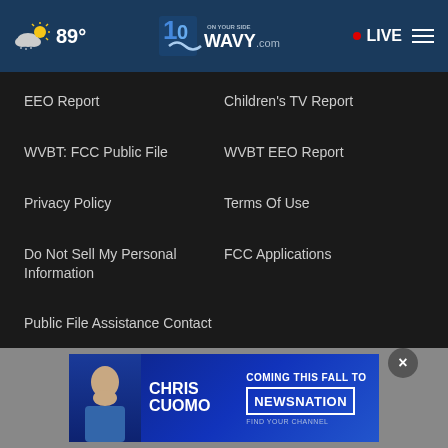89° WAVY.com ON YOUR SIDE LIVE
EEO Report
Children's TV Report
WVBT: FCC Public File
WVBT EEO Report
Privacy Policy
Terms Of Use
Do Not Sell My Personal Information
FCC Applications
Public File Assistance Contact
The Hill
NewsNation
BestRev...
[Figure (screenshot): Advertisement banner for Chris Cuomo coming to NewsNation this fall, with a photo of Chris Cuomo on a blue gradient background]